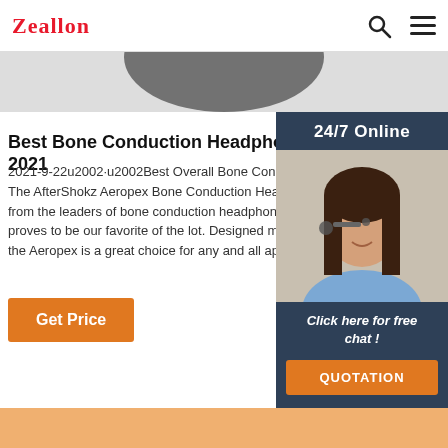Zeallon
[Figure (photo): Partial product image (headphones) visible at top of page, cropped]
Best Bone Conduction Headphones of 2021
2021-9-22u2002·u2002Best Overall Bone Conduction Headphones. The AfterShokz Aeropex Bone Conduction Headph from the leaders of bone conduction headphone proves to be our favorite of the lot. Designed mos the Aeropex is a great choice for any and all appl
[Figure (photo): Customer service agent woman wearing headset, on dark blue background with 24/7 Online text, Click here for free chat! text, and QUOTATION button]
Get Price
[Figure (photo): Bottom peach/orange section with partial product image visible]